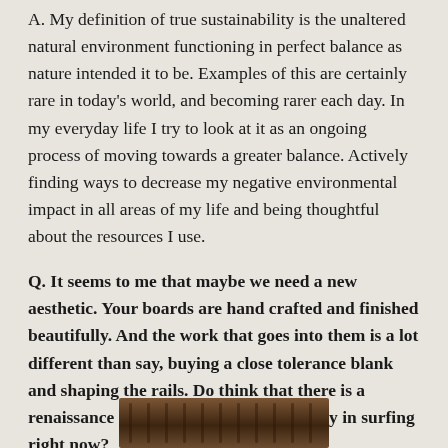A. My definition of true sustainability is the unaltered natural environment functioning in perfect balance as nature intended it to be. Examples of this are certainly rare in today's world, and becoming rarer each day. In my everyday life I try to look at it as an ongoing process of moving towards a greater balance. Actively finding ways to decrease my negative environmental impact in all areas of my life and being thoughtful about the resources I use.
Q. It seems to me that maybe we need a new aesthetic. Your boards are hand crafted and finished beautifully. And the work that goes into them is a lot different than say, buying a close tolerance blank and shaping the rails. Do think that there is a renaissance of craftsmanship and artistry in surfing right now?
[Figure (photo): Partial photo strip visible at bottom of page, showing what appears to be wooden surfboards or similar wooden objects, partially cropped.]